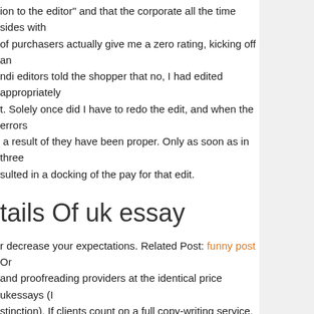ion to the editor" and that the corporate all the time sides with of purchasers actually give me a zero rating, kicking off an ndi editors told the shopper that no, I had edited appropriately t. Solely once did I have to redo the edit, and when the errors a result of they have been proper. Only as soon as in three sulted in a docking of the pay for that edit.
tails Of uk essay
r decrease your expectations. Related Post: funny post Or and proofreading providers at the identical price ukessays (I stinction). If clients count on a full copy-writing service, they
my expectations. I did not need the grammar evaluation, but . My one suggestion could be to repair the tests so there n happen essay uk to do not use the exact word or punctuate going to get it unsuitable, even when someone wanting on the